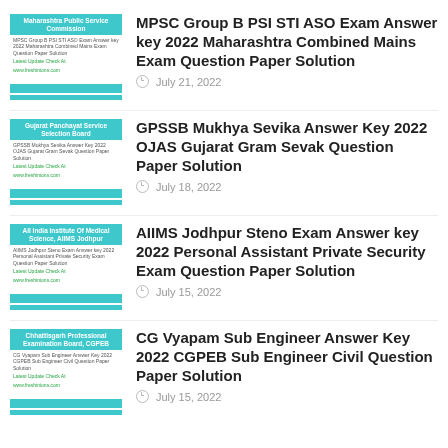MPSC Group B PSI STI ASO Exam Answer key 2022 Maharashtra Combined Mains Exam Question Paper Solution
July 21, 2022
GPSSB Mukhya Sevika Answer Key 2022 OJAS Gujarat Gram Sevak Question Paper Solution
July 18, 2022
AIIMS Jodhpur Steno Exam Answer key 2022 Personal Assistant Private Security Exam Question Paper Solution
July 15, 2022
CG Vyapam Sub Engineer Answer Key 2022 CGPEB Sub Engineer Civil Question Paper Solution
July 15, 2022